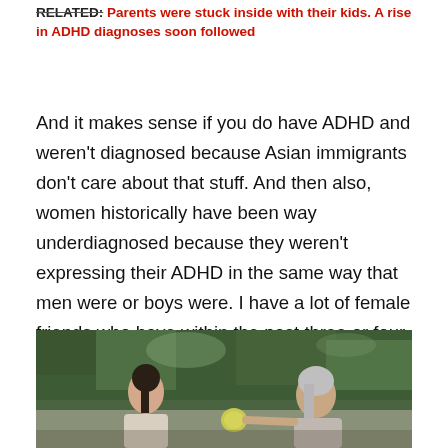RELATED: Parents were stuck inside with their kids. A rise in ADHD diagnoses soon followed
And it makes sense if you do have ADHD and weren't diagnosed because Asian immigrants don't care about that stuff. And then also, women historically have been way underdiagnosed because they weren't expressing their ADHD in the same way that men were or boys were. I have a lot of female friends who have within the past three or four years got diagnosed. And it's life-changing.
[Figure (photo): Two women facing each other outdoors with trees in the background. One woman has dark hair in a ponytail, the other has silver/white hair and is holding a small round green object.]